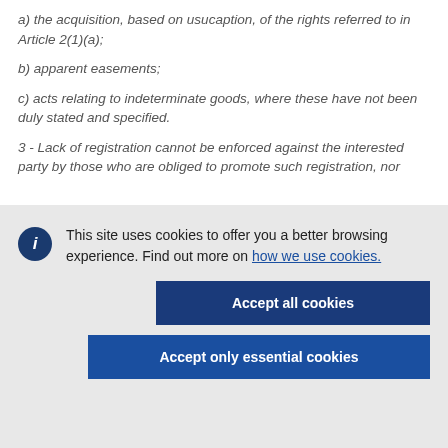a) the acquisition, based on usucaption, of the rights referred to in Article 2(1)(a);
b) apparent easements;
c) acts relating to indeterminate goods, where these have not been duly stated and specified.
3 - Lack of registration cannot be enforced against the interested party by those who are obliged to promote such registration, nor
This site uses cookies to offer you a better browsing experience. Find out more on how we use cookies.